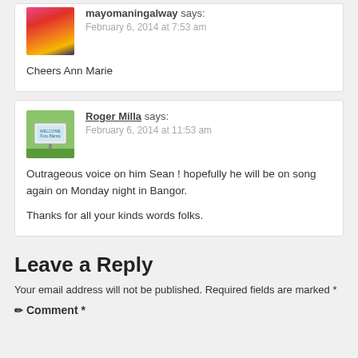mayomaningalway says: February 6, 2014 at 7:53 am
Cheers Ann Marie
Roger Milla says: February 6, 2014 at 11:53 am
Outrageous voice on him Sean ! hopefully he will be on song again on Monday night in Bangor.

Thanks for all your kinds words folks.
Leave a Reply
Your email address will not be published. Required fields are marked *
Comment *